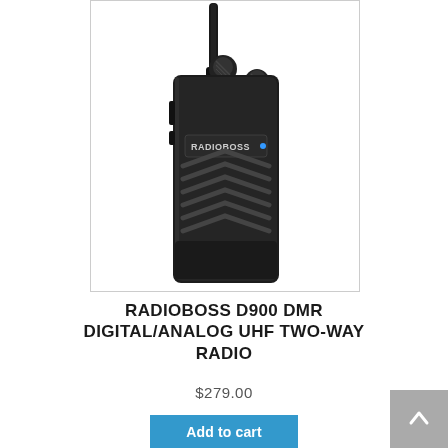[Figure (photo): Product photo of the RADIOBOSS D900 DMR Digital/Analog UHF Two-Way Radio — a black handheld walkie-talkie with antenna, speaker grille with chevron pattern, and RADIOBOSS label on body.]
RADIOBOSS D900 DMR DIGITAL/ANALOG UHF TWO-WAY RADIO
$279.00
Add to cart